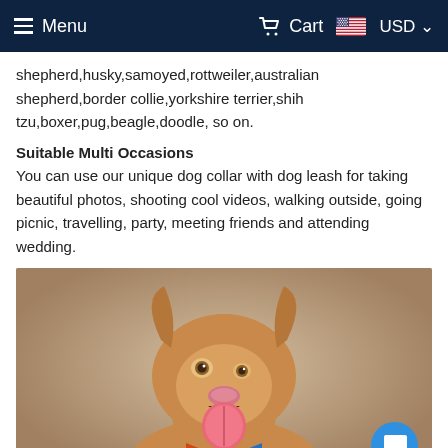Menu  Cart  USD
shepherd,husky,samoyed,rottweiler,australian shepherd,border collie,yorkshire terrier,shih tzu,boxer,pug,beagle,doodle, so on.
Suitable Multi Occasions
You can use our unique dog collar with dog leash for taking beautiful photos, shooting cool videos, walking outside, going picnic, travelling, party, meeting friends and attending wedding.
[Figure (photo): A golden/tan colored dog wearing a colorful bow tie, looking upward with mouth open and tongue out, photographed against a beige/taupe background. A blue chat bubble icon is visible in the bottom right corner.]